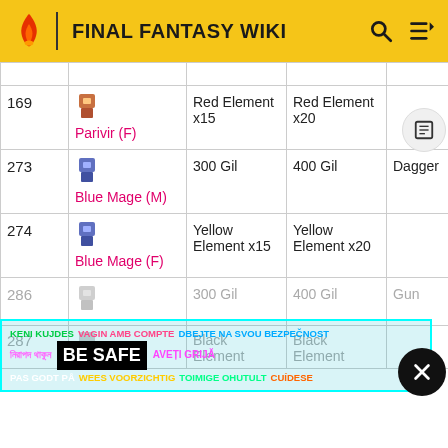FINAL FANTASY WIKI
| # | Character | Steal | Morph | Rare Steal |
| --- | --- | --- | --- | --- |
| 169 | Parivir (F) | Red Element x15 | Red Element x20 |  |
| 273 | Blue Mage (M) | 300 Gil | 400 Gil | Dagger |
| 274 | Blue Mage (F) | Yellow Element x15 | Yellow Element x20 |  |
| 286 |  | 300 Gil | 400 Gil | Gun |
| 287 |  | Black Element | Black Element |  |
KENI KUJDES VAGIN AMB COMPTE DBEJTE NA SVOU BEZPEČNOST নিরাপদ থাকুন BE SAFE AVEȚI GRIJĂ PAS GODT PÅ WEES VOORZICHTIG TOIMIGE OHUTULT CUÍDESE